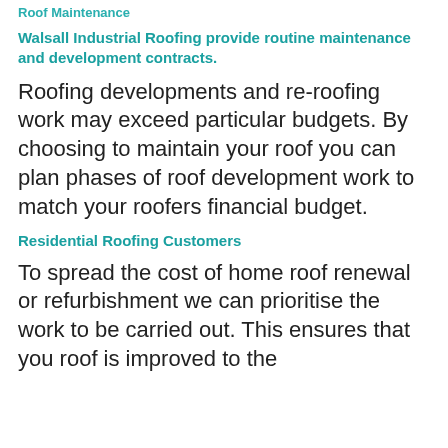Roof Maintenance
Walsall Industrial Roofing provide routine maintenance
and development contracts.
Roofing developments and re-roofing work may exceed particular budgets. By choosing to maintain your roof you can plan phases of roof development work to match your roofers financial budget.
Residential Roofing Customers
To spread the cost of home roof renewal or refurbishment we can prioritise the work to be carried out. This ensures that you roof is improved to the